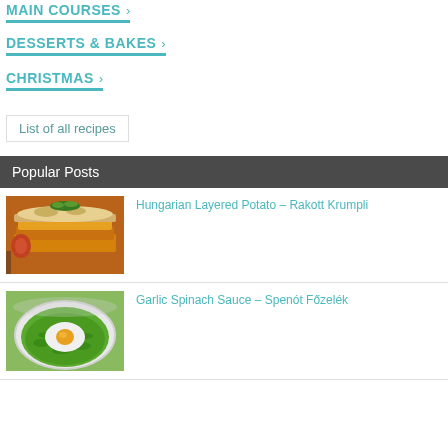MAIN COURSES
DESSERTS & BAKES
CHRISTMAS
List of all recipes
Popular Posts
[Figure (photo): Photo of Hungarian layered potato dish (Rakott Krumpli) - layered casserole with egg and cheese visible]
Hungarian Layered Potato – Rakott Krumpli
[Figure (photo): Photo of Garlic Spinach Sauce (Spenót Főzelék) - green spinach puree in a bowl with a fried egg on top]
Garlic Spinach Sauce – Spenót Főzelék